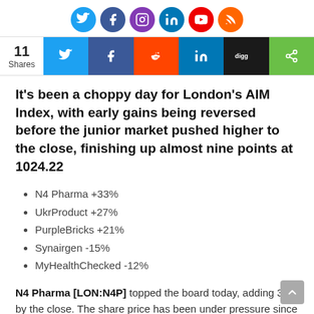[Figure (other): Row of 6 circular social media icon buttons: Twitter (blue), Facebook (dark blue), Instagram (purple), LinkedIn (blue), YouTube (red), RSS (orange)]
[Figure (other): Share bar showing 11 Shares, with buttons for Twitter, Facebook, Reddit, LinkedIn, Digg, and a generic share icon]
It's been a choppy day for London's AIM Index, with early gains being reversed before the junior market pushed higher to the close, finishing up almost nine points at 1024.22
N4 Pharma +33%
UkrProduct +27%
PurpleBricks +21%
Synairgen -15%
MyHealthChecked -12%
N4 Pharma [LON:N4P] topped the board today, adding 33% by the close. The share price has been under pressure since the end of last year and there's